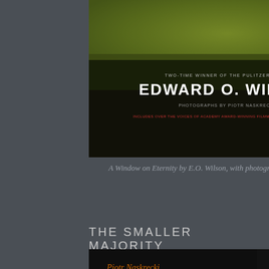[Figure (photo): Book cover of 'A Window on Eternity' by Edward O. Wilson with photography by Piotr Naskrecki. Dark background with green mossy/lichen texture at top, author name in large white uppercase letters.]
A Window on Eternity by E.O. Wilson, with photography by Piotr Naskrecki
THE SMALLER MAJORITY
[Figure (photo): Book cover of 'The Smaller Majority' by Piotr Naskrecki. Dark background with a yellow-green tree frog peeking around an edge on the right side. Author name in orange italic at top, title in white and green italic text at bottom left.]